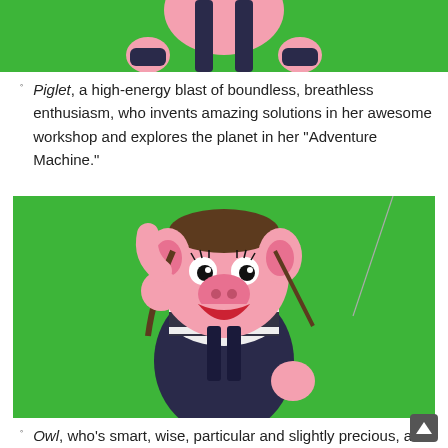[Figure (photo): Top portion of a pink pig puppet wearing dark overalls, against a bright green background]
Piglet, a high-energy blast of boundless, breathless enthusiasm, who invents amazing solutions in her awesome workshop and explores the planet in her “Adventure Machine.”
[Figure (photo): Full view of Piglet, a pink pig puppet wearing a striped shirt and dark overalls, with a pilot cap, posing enthusiastically against a bright green background]
Owl, who’s smart, wise, particular and slightly precious, as